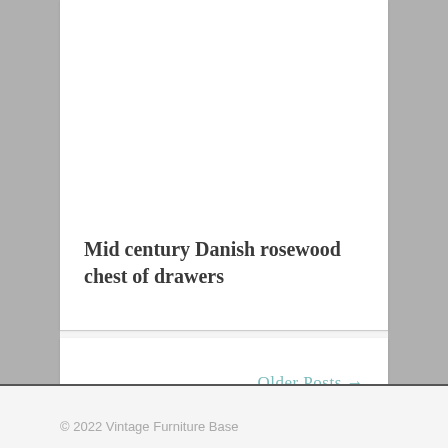[Figure (photo): White empty image area representing a product photo placeholder for a mid century Danish rosewood chest of drawers listing]
Mid century Danish rosewood chest of drawers
Older Posts →
© 2022 Vintage Furniture Base